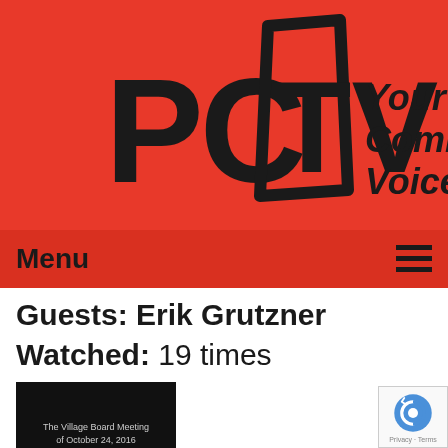[Figure (logo): PCTV logo with text 'Your Community Voice' on red background]
Menu ≡
Guests: Erik Grutzner
Watched: 19 times
[Figure (screenshot): Black video thumbnail reading 'The Village Board Meeting of October 24, 2016']
The Village Board Meeting of 10-24-16
Airdate: 10/24/2016